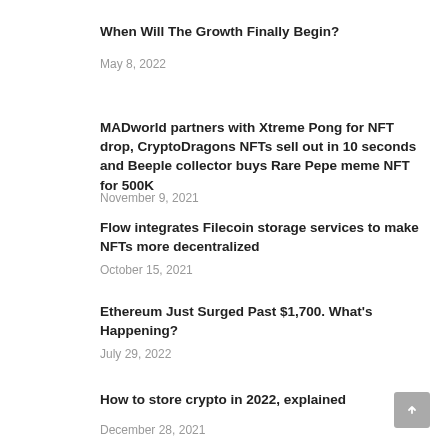When Will The Growth Finally Begin?
May 8, 2022
MADworld partners with Xtreme Pong for NFT drop, CryptoDragons NFTs sell out in 10 seconds and Beeple collector buys Rare Pepe meme NFT for 500K
November 9, 2021
Flow integrates Filecoin storage services to make NFTs more decentralized
October 15, 2021
Ethereum Just Surged Past $1,700. What's Happening?
July 29, 2022
How to store crypto in 2022, explained
December 28, 2021